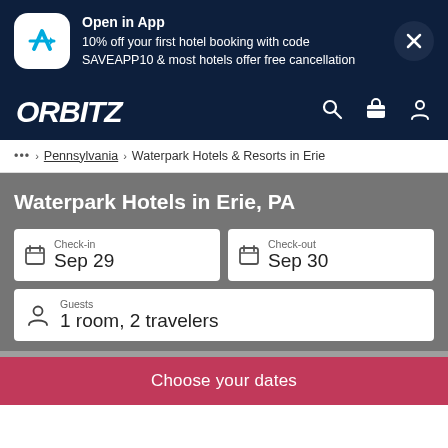[Figure (screenshot): Orbitz app promotional banner with app icon, text about 10% off first hotel booking with code SAVEAPP10, and a close button]
[Figure (logo): Orbitz logo in white italic bold text on dark navy background, with search, briefcase, and person icons]
... > Pennsylvania > Waterpark Hotels & Resorts in Erie
Waterpark Hotels in Erie, PA
Check-in Sep 29
Check-out Sep 30
Guests 1 room, 2 travelers
Choose your dates